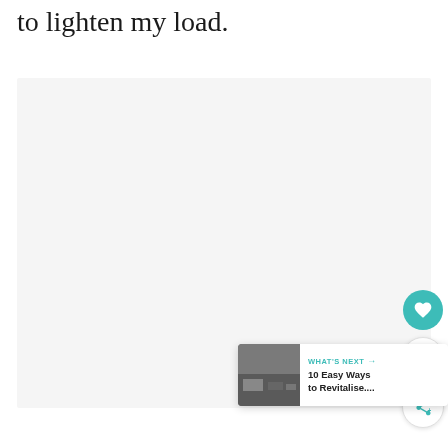to lighten my load.
[Figure (photo): Large light-grey placeholder image area occupying most of the page]
[Figure (infographic): Sidebar UI with teal heart button, count badge showing 2, and share button]
[Figure (screenshot): WHAT'S NEXT card with thumbnail photo and text '10 Easy Ways to Revitalise...']